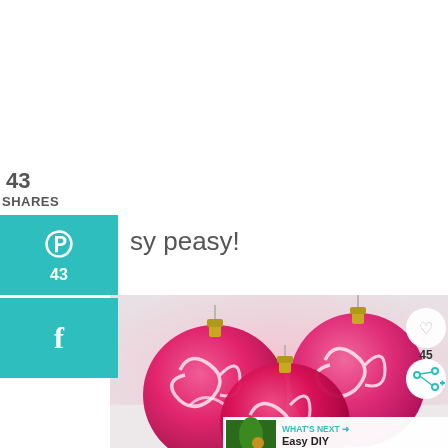43
SHARES
[Figure (screenshot): Pinterest share button (teal) with P icon and count 43]
[Figure (screenshot): Facebook share button (teal) with f icon]
sy peasy!
[Figure (photo): Three pink glass Christmas ornaments with white swirl designs, arranged in a cluster on a light background. Heart icon (45) and share icon visible on right side.]
WHAT'S NEXT → Easy DIY Stuffed Clea...